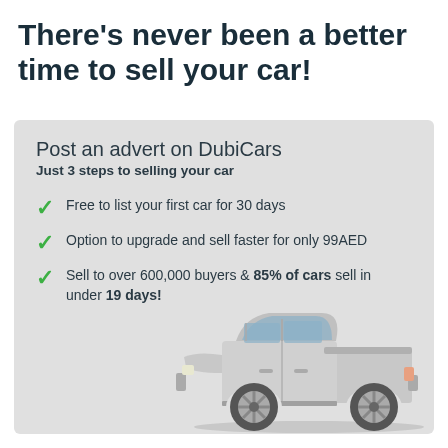There's never been a better time to sell your car!
Post an advert on DubiCars
Just 3 steps to selling your car
Free to list your first car for 30 days
Option to upgrade and sell faster for only 99AED
Sell to over 600,000 buyers & 85% of cars sell in under 19 days!
[Figure (illustration): Silver pickup truck (Toyota Tundra style) viewed from the side, positioned in the lower-right of the gray card.]